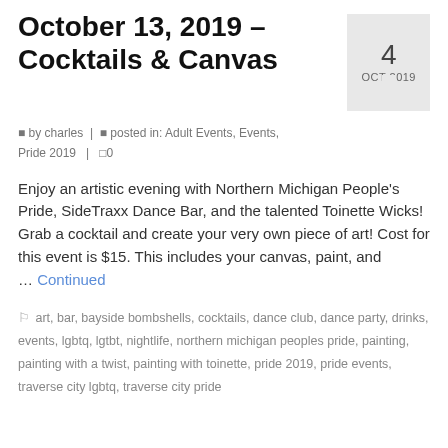October 13, 2019 – Cocktails & Canvas
by charles | posted in: Adult Events, Events, Pride 2019 | 0
Enjoy an artistic evening with Northern Michigan People's Pride, SideTraxx Dance Bar, and the talented Toinette Wicks! Grab a cocktail and create your very own piece of art! Cost for this event is $15. This includes your canvas, paint, and … Continued
art, bar, bayside bombshells, cocktails, dance club, dance party, drinks, events, lgbtq, lgtbt, nightlife, northern michigan peoples pride, painting, painting with a twist, painting with toinette, pride 2019, pride events, traverse city lgbtq, traverse city pride